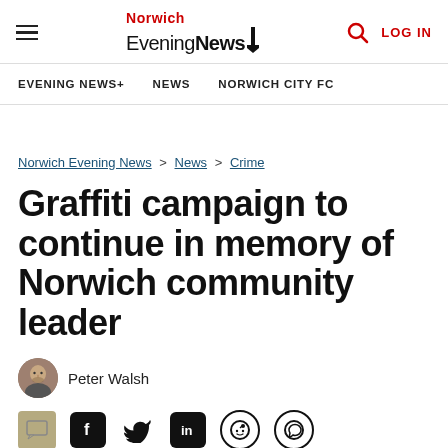Norwich Evening News | EVENING NEWS+ | NEWS | NORWICH CITY FC | LOG IN
Norwich Evening News > News > Crime
Graffiti campaign to continue in memory of Norwich community leader
Peter Walsh